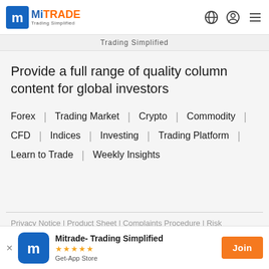MiTRADE — Trading Simplified
Trading Simplified
Provide a full range of quality column content for global investors
Forex | Trading Market | Crypto | Commodity | CFD | Indices | Investing | Trading Platform | Learn to Trade | Weekly Insights
Privacy Notice | Product Sheet | Complaints Procedure | Risk Disclosure Statement | Client Agreement
Mitrade- Trading Simplified ★★★★☆ Get-App Store    Join